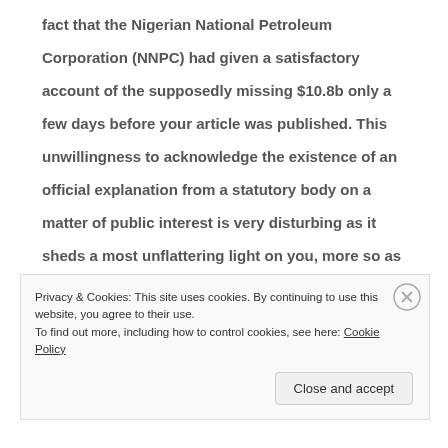fact that the Nigerian National Petroleum Corporation (NNPC) had given a satisfactory account of the supposedly missing $10.8b only a few days before your article was published. This unwillingness to acknowledge the existence of an official explanation from a statutory body on a matter of public interest is very disturbing as it sheds a most unflattering light on you, more so as you are a person who also aspires to high public office, in the near future.
Privacy & Cookies: This site uses cookies. By continuing to use this website, you agree to their use.
To find out more, including how to control cookies, see here: Cookie Policy